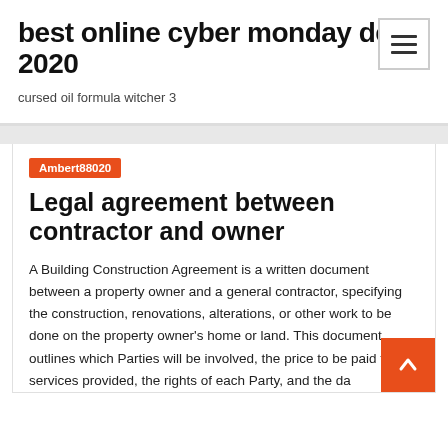best online cyber monday deals 2020
cursed oil formula witcher 3
Ambert88020
Legal agreement between contractor and owner
A Building Construction Agreement is a written document between a property owner and a general contractor, specifying the construction, renovations, alterations, or other work to be done on the property owner's home or land. This document outlines which Parties will be involved, the price to be paid, the services provided, the rights of each Party, and the da... construction will be reimburse. This agreement represents the...